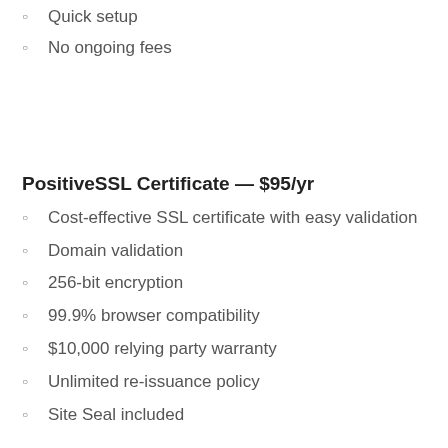Quick setup
No ongoing fees
PositiveSSL Certificate — $95/yr
Cost-effective SSL certificate with easy validation
Domain validation
256-bit encryption
99.9% browser compatibility
$10,000 relying party warranty
Unlimited re-issuance policy
Site Seal included